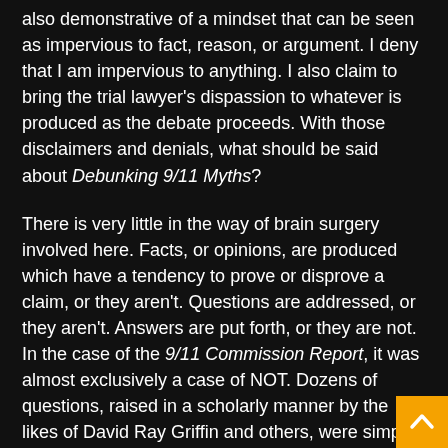also demonstrative of a mindset that can be seen as impervious to fact, reason, or argument. I deny that I am impervious to anything. I also claim to bring the trial lawyer's dispassion to whatever is produced as the debate proceeds. With those disclaimers and denials, what should be said about Debunking 9/11 Myths?
There is very little in the way of brain surgery involved here. Facts, or opinions, are produced which have a tendency to prove or disprove a claim, or they aren't. Questions are addressed, or they aren't. Answers are put forth, or they are not. In the case of the 9/11 Commission Report, it was almost exclusively a case of NOT. Dozens of questions, raised in a scholarly manner by the likes of David Ray Griffin and others, were simply not mentioned by the panel assembled to give the full explanation to t